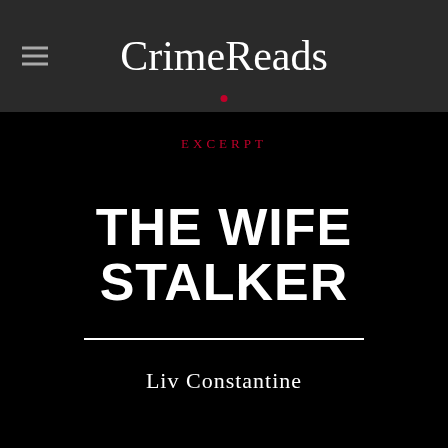CrimeReads
EXCERPT
THE WIFE STALKER
Liv Constantine